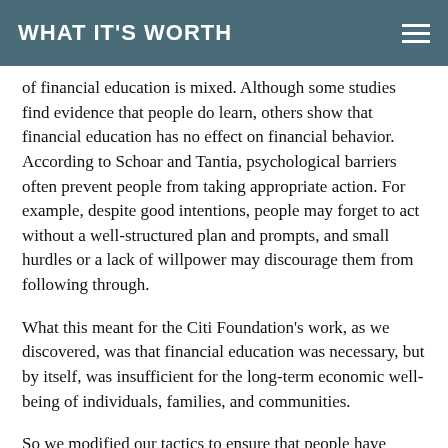WHAT IT'S WORTH
of financial education is mixed. Although some studies find evidence that people do learn, others show that financial education has no effect on financial behavior. According to Schoar and Tantia, psychological barriers often prevent people from taking appropriate action. For example, despite good intentions, people may forget to act without a well-structured plan and prompts, and small hurdles or a lack of willpower may discourage them from following through.
What this meant for the Citi Foundation's work, as we discovered, was that financial education was necessary, but by itself, was insufficient for the long-term economic well-being of individuals, families, and communities.
So we modified our tactics to ensure that people have